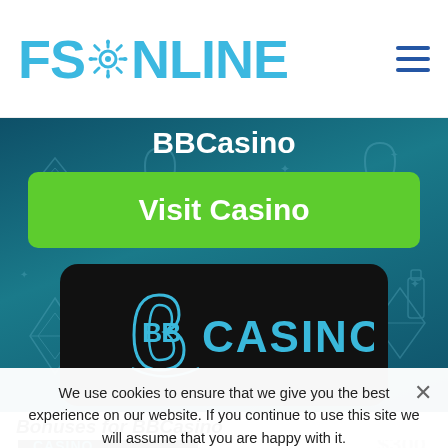FSONLINE
BBCasino
Visit Casino
[Figure (logo): BB Casino logo — white 'BB' icon with teal 'CASINO' text on black rounded rectangle background]
Bonuses for BBCasino
We use cookies to ensure that we give you the best experience on our website. If you continue to use this site we will assume that you are happy with it.
Ok
Read more
$300